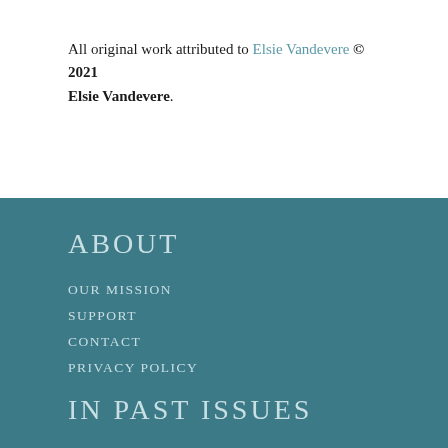All original work attributed to Elsie Vandevere © 2021 Elsie Vandevere.
ABOUT
OUR MISSION
SUPPORT
CONTACT
PRIVACY POLICY
IN PAST ISSUES